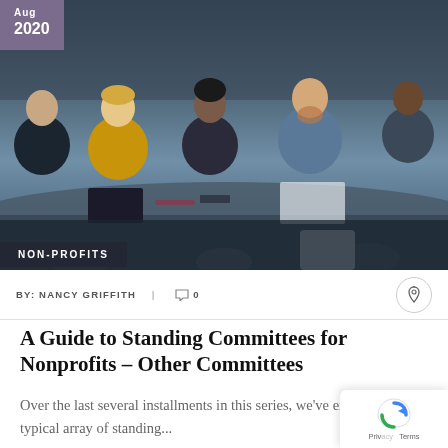[Figure (photo): A group of professionals seated around a conference table with laptops, notebooks, and tablets, appearing to be in a meeting or workshop setting. The image has a cool blue-grey tone.]
Aug
2020
NON-PROFITS
BY: NANCY GRIFFITH | ○ 0
A Guide to Standing Committees for Nonprofits – Other Committees
Over the last several installments in this series, we've examined the typical array of standing...
Learn More →